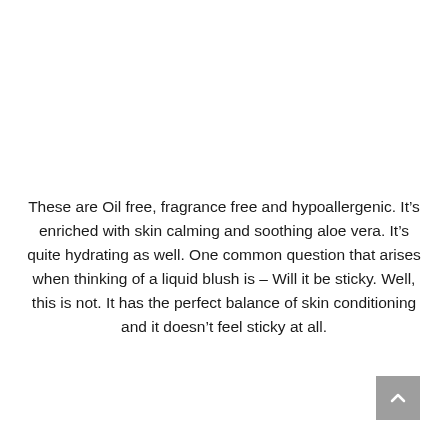These are Oil free, fragrance free and hypoallergenic. It's enriched with skin calming and soothing aloe vera. It's quite hydrating as well. One common question that arises when thinking of a liquid blush is – Will it be sticky. Well, this is not. It has the perfect balance of skin conditioning and it doesn't feel sticky at all.